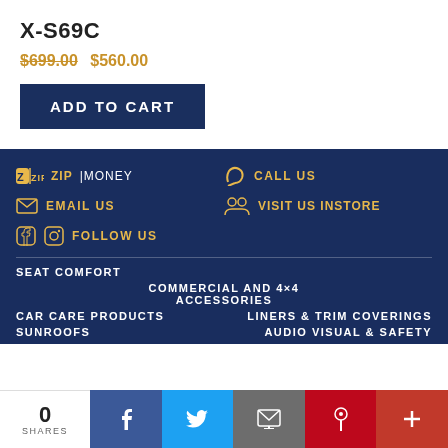X-S69C
$699.00 $560.00
ADD TO CART
zip money
CALL US
EMAIL US
VISIT US INSTORE
FOLLOW US
SEAT COMFORT
COMMERCIAL AND 4×4 ACCESSORIES
CAR CARE PRODUCTS
LINERS & TRIM COVERINGS
SUNROOFS
AUDIO VISUAL & SAFETY
0 SHARES